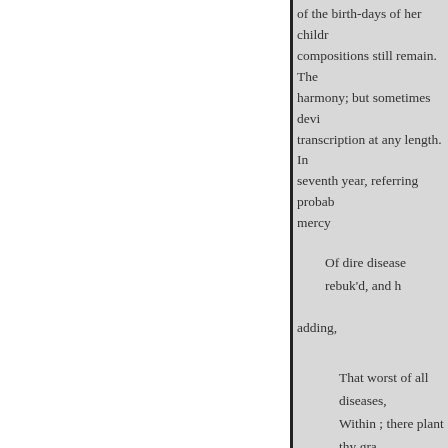of the birth-days of her children compositions still remain. The harmony; but sometimes devi transcription at any length. In seventh year, referring probably mercy
Of dire disease rebuk'd, and h
adding,
That worst of all diseases, Within ; there plant thy gra A froward, stubborn will !
of a
More than ten years after, she
affectionate letter to her son ; generally, of greeting her birth
" December 9th, 1806. "My